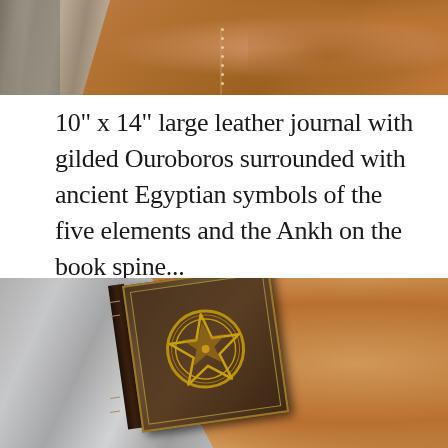[Figure (photo): Close-up photo of brown leather surface with visible stitching seam and fur/tassel detail at top left corner]
10" x 14" large leather journal with gilded Ouroboros surrounded with ancient Egyptian symbols of the five elements and the Ankh on the book spine...
[Figure (photo): Photo of a dark brown leather journal with a gold pentagram star in a circle embossed on the cover, bordered with gold trim, lying on a fur surface with orange leather background]